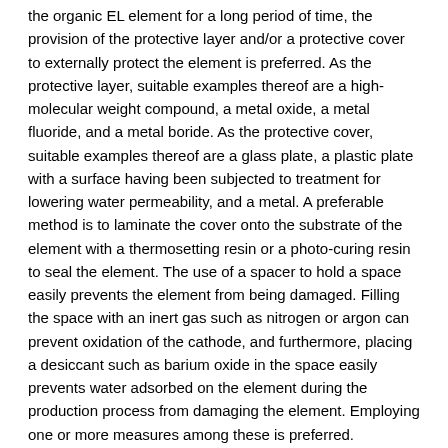the organic EL element for a long period of time, the provision of the protective layer and/or a protective cover to externally protect the element is preferred. As the protective layer, suitable examples thereof are a high-molecular weight compound, a metal oxide, a metal fluoride, and a metal boride. As the protective cover, suitable examples thereof are a glass plate, a plastic plate with a surface having been subjected to treatment for lowering water permeability, and a metal. A preferable method is to laminate the cover onto the substrate of the element with a thermosetting resin or a photo-curing resin to seal the element. The use of a spacer to hold a space easily prevents the element from being damaged. Filling the space with an inert gas such as nitrogen or argon can prevent oxidation of the cathode, and furthermore, placing a desiccant such as barium oxide in the space easily prevents water adsorbed on the element during the production process from damaging the element. Employing one or more measures among these is preferred.
<10. Substrate>
As the substrate of the organic EL element according to the present invention, a material which satisfies the mechanical strength required for an organic EL element is employed.
An organic EL element of bottom emission type employs a substrate transparent to visible light. Suitable examples thereof are, specifically, substrates made of glass, such as soda glass and no-alkali glass; a